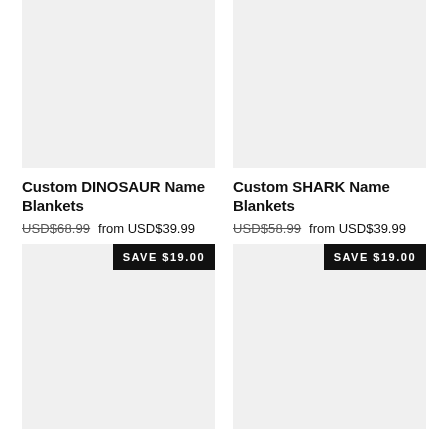[Figure (photo): Product image placeholder for Custom DINOSAUR Name Blankets - light gray square]
[Figure (photo): Product image placeholder for Custom SHARK Name Blankets - light gray square]
Custom DINOSAUR Name Blankets
USD$68.99  from USD$39.99
Custom SHARK Name Blankets
USD$58.99  from USD$39.99
[Figure (photo): Product image placeholder (bottom left) with SAVE $19.00 badge]
[Figure (photo): Product image placeholder (bottom right) with SAVE $19.00 badge]